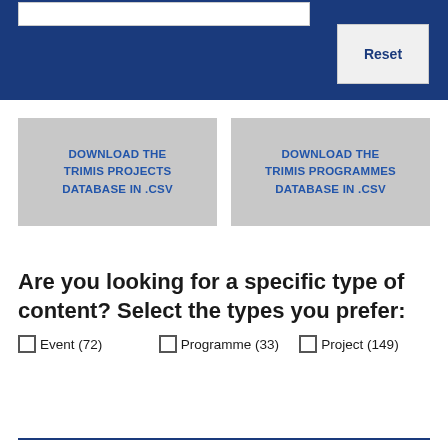[Figure (screenshot): Blue header bar with a search input box and a Reset button]
DOWNLOAD THE TRIMIS PROJECTS DATABASE IN .CSV
DOWNLOAD THE TRIMIS PROGRAMMES DATABASE IN .CSV
Are you looking for a specific type of content? Select the types you prefer:
Event (72)
Programme (33)
Project (149)